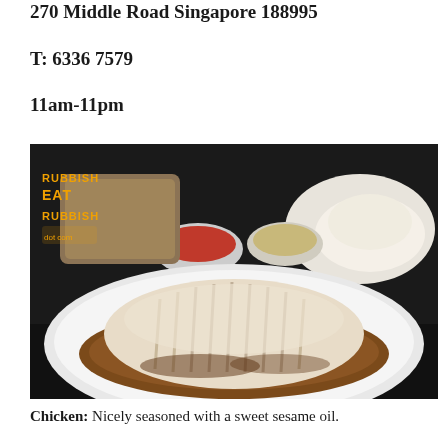270 Middle Road Singapore 188995
T: 6336 7579
11am-11pm
[Figure (photo): Photo of Hainanese chicken rice dish: sliced poached chicken on a white plate with brown sauce, accompanied by bowls of chili sauce and ginger paste, and a plate of white rice. Watermark reads 'RUBBISH EAT RUBBISH' in top left corner.]
Chicken: Nicely seasoned with a sweet sesame oil.